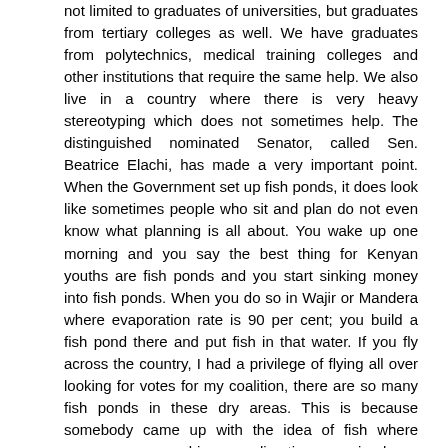not limited to graduates of universities, but graduates from tertiary colleges as well. We have graduates from polytechnics, medical training colleges and other institutions that require the same help. We also live in a country where there is very heavy stereotyping which does not sometimes help. The distinguished nominated Senator, called Sen. Beatrice Elachi, has made a very important point. When the Government set up fish ponds, it does look like sometimes people who sit and plan do not even know what planning is all about. You wake up one morning and you say the best thing for Kenyan youths are fish ponds and you start sinking money into fish ponds. When you do so in Wajir or Mandera where evaporation rate is 90 per cent; you build a fish pond there and put fish in that water. If you fly across the country, I had a privilege of flying all over looking for votes for my coalition, there are so many fish ponds in these dry areas. This is because somebody came up with the idea of fish where money was poured in every direction, even in places where you can use small streams and keep fish, they were spending money digging ponds. So, billions of shillings were sunk into that enterprise and it got lost. We have these monies for women---
Bonny Khalwale
On a point of order, Madam Temporary Speaker.